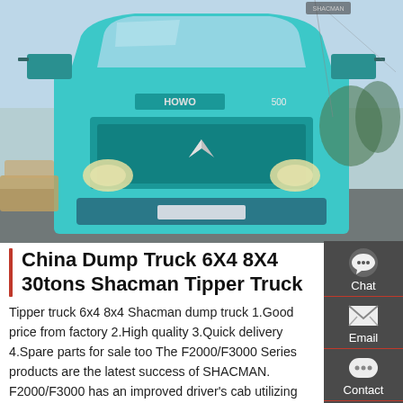[Figure (photo): Front view of a teal/turquoise Shacman dump truck (HOWO style), photographed head-on in a parking area with trees and other vehicles visible in background.]
China Dump Truck 6X4 8X4 30tons Shacman Tipper Truck
Tipper truck 6x4 8x4 Shacman dump truck 1.Good price from factory 2.High quality 3.Quick delivery 4.Spare parts for sale too The F2000/F3000 Series products are the latest success of SHACMAN. F2000/F3000 has an improved driver's cab utilizing advanced technologies from the …